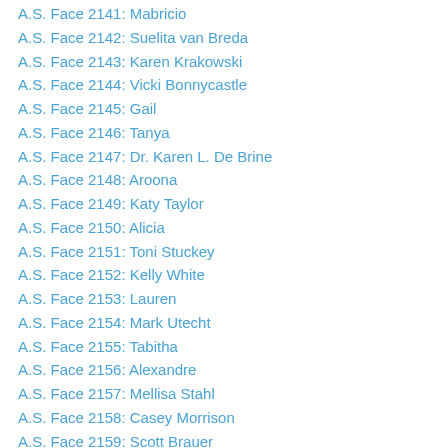A.S. Face 2141: Mabricio
A.S. Face 2142: Suelita van Breda
A.S. Face 2143: Karen Krakowski
A.S. Face 2144: Vicki Bonnycastle
A.S. Face 2145: Gail
A.S. Face 2146: Tanya
A.S. Face 2147: Dr. Karen L. De Brine
A.S. Face 2148: Aroona
A.S. Face 2149: Katy Taylor
A.S. Face 2150: Alicia
A.S. Face 2151: Toni Stuckey
A.S. Face 2152: Kelly White
A.S. Face 2153: Lauren
A.S. Face 2154: Mark Utecht
A.S. Face 2155: Tabitha
A.S. Face 2156: Alexandre
A.S. Face 2157: Mellisa Stahl
A.S. Face 2158: Casey Morrison
A.S. Face 2159: Scott Brauer
A.S. Face 2160: Claire Solomon